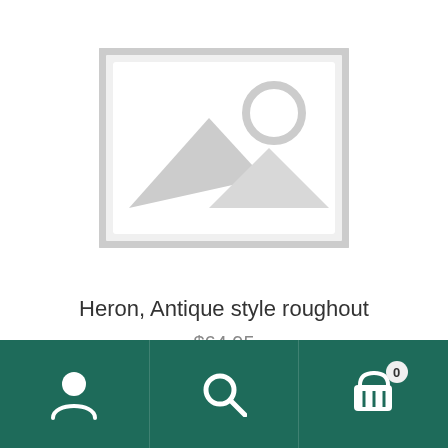[Figure (illustration): Placeholder image icon showing a mountain landscape with sun, grey outline on white background]
Heron, Antique style roughout
$64.95
Add to cart